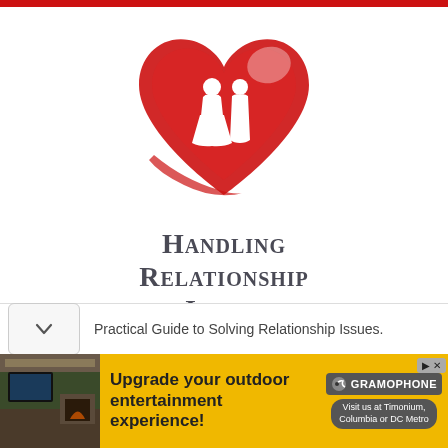[Figure (logo): Red painted heart shape with white silhouettes of a couple (woman and man) standing inside it — book cover logo for Handling Relationship Issues]
Handling Relationship Issues
Practical Guide to Solving Relationship Issues.
[Figure (photo): Advertisement banner: outdoor entertainment setup photo on left, gold/yellow background, bold text 'Upgrade your outdoor entertainment experience!', Gramophone logo, 'Visit us at Timonium, Columbia or DC Metro']